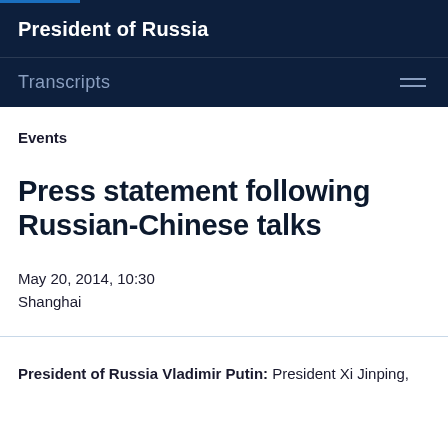President of Russia
Transcripts
Events
Press statement following Russian-Chinese talks
May 20, 2014, 10:30
Shanghai
President of Russia Vladimir Putin: President Xi Jinping,